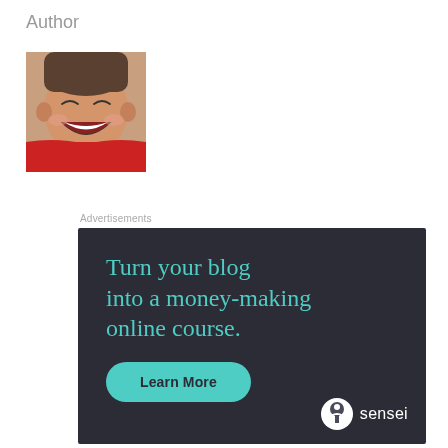Author
[Figure (photo): Author photo: a man laughing, wearing a red jacket, close-up selfie-style photo]
Advertisements
[Figure (infographic): Advertisement for Sensei: dark navy background with teal text 'Turn your blog into a money-making online course.' and a teal 'Learn More' button, Sensei logo at bottom right]